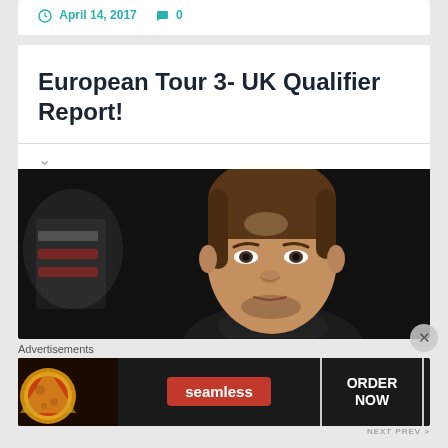April 14, 2017   0
European Tour 3- UK Qualifier Report!
[Figure (photo): Close-up photo of a man with short brown hair against a dark background, with a partial logo visible on the left]
Advertisements
[Figure (photo): Seamless food delivery advertisement banner with pizza image on left, Seamless badge in center, and ORDER NOW button on right]